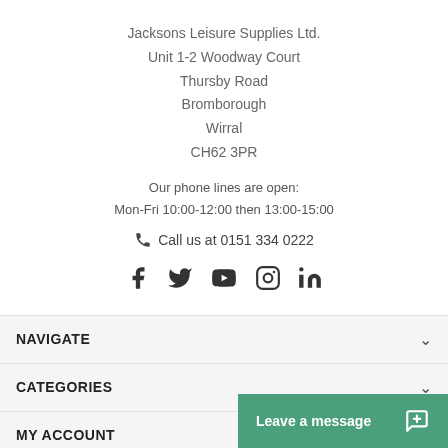Jacksons Leisure Supplies Ltd.
Unit 1-2 Woodway Court
Thursby Road
Bromborough
Wirral
CH62 3PR
Our phone lines are open:
Mon-Fri 10:00-12:00 then 13:00-15:00
Call us at 0151 334 0222
[Figure (infographic): Social media icons: Facebook, Twitter, YouTube, Instagram, LinkedIn]
NAVIGATE
CATEGORIES
MY ACCOUNT
Leave a message